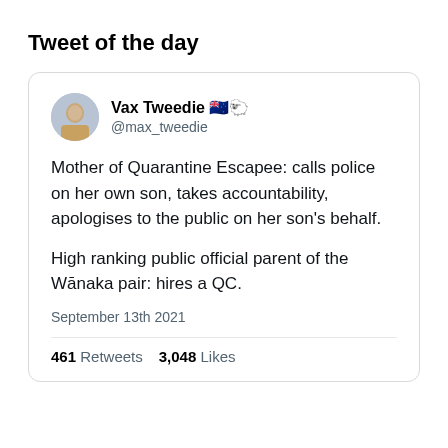Tweet of the day
[Figure (screenshot): Screenshot of a tweet by Vax Tweedie (@max_tweedie) dated September 13th 2021. Tweet text: 'Mother of Quarantine Escapee: calls police on her own son, takes accountability, apologises to the public on her son's behalf. High ranking public official parent of the Wānaka pair: hires a QC.' Stats: 461 Retweets, 3,048 Likes.]